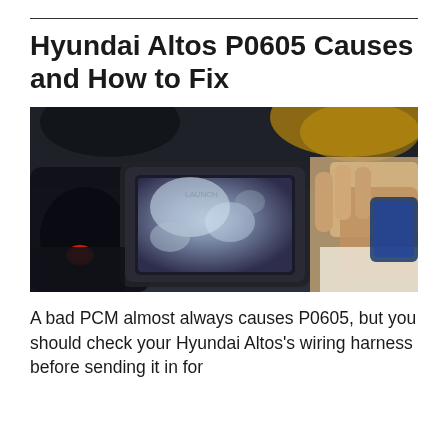Hyundai Altos P0605 Causes and How to Fix
[Figure (photo): A mechanic holding an OBD diagnostic scanner tool, displaying a screen, with vehicle background]
A bad PCM almost always causes P0605, but you should check your Hyundai Altos's wiring harness before sending it in for